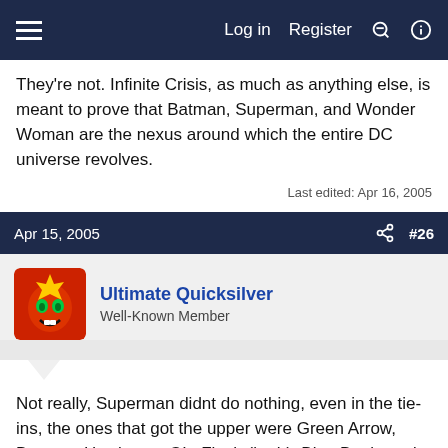≡   Log in  Register  ⚡  🔍
They're not. Infinite Crisis, as much as anything else, is meant to prove that Batman, Superman, and Wonder Woman are the nexus around which the entire DC universe revolves.
Last edited: Apr 16, 2005
Apr 15, 2005   #26
Ultimate Quicksilver
Well-Known Member
Not really, Superman didnt do nothing, even in the tie-ins, the ones that got the upper were Green Arrow, Batman, Hawkman, GL, Flash (both), Blue Bettle and Booster and for the villains Deathstroke and Maxwell among the others from The Society. They always say that Superman is the Big Guy, but IC could had happen with or withouth him, it wouldnt change a bit.
Apr 16, 2005   #27